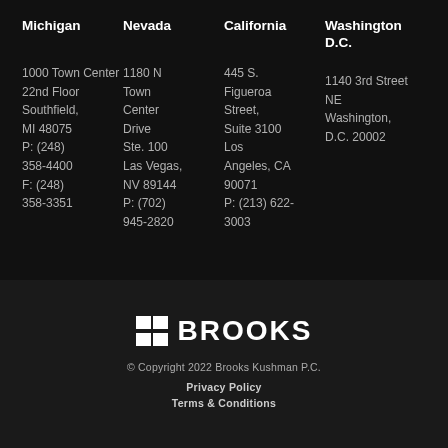Michigan
1000 Town Center
22nd Floor
Southfield, MI 48075
P: (248) 358-4400
F: (248) 358-3351
Nevada
1180 N Town Center Drive
Ste. 100
Las Vegas, NV 89144
P: (702) 945-2820
California
445 S. Figueroa Street, Suite 3100
Los Angeles, CA 90071
P: (213) 622-3003
Washington D.C.
1140 3rd Street NE
Washington, D.C. 20002
[Figure (logo): Brooks Kushman PC logo with grid icon and BROOKS text]
© Copyright 2022 Brooks Kushman P.C.
Privacy Policy
Terms & Conditions